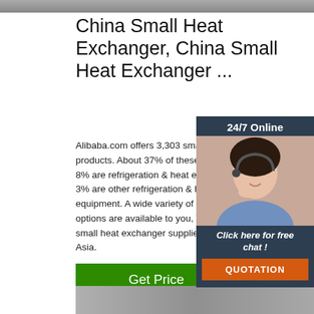[Figure (photo): Top cropped photo strip, partially visible]
China Small Heat Exchanger, China Small Heat Exchanger ...
Alibaba.com offers 3,303 small heat exchanger products. About 37% of these are heat exchangers, 8% are refrigeration & heat exchange parts, 3% are other refrigeration & heat exchange equipment. A wide variety of small heat exchanger options are available to you, There are 3,303 small heat exchanger suppliers, mainly located in Asia.
[Figure (infographic): 24/7 Online chat widget with customer service representative photo, 'Click here for free chat!' text, and orange QUOTATION button]
[Figure (other): Green 'Get Price' button]
[Figure (logo): Orange TOP logo with dots arranged in triangle above the word TOP]
[Figure (photo): Bottom cropped photo strip, partially visible]